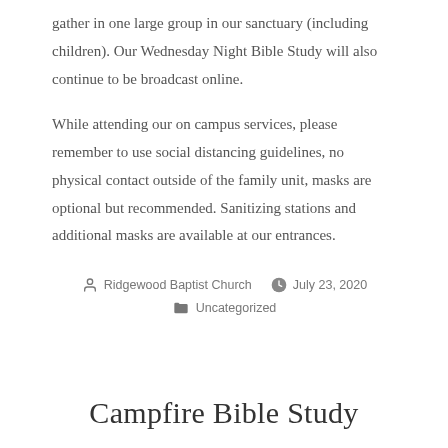gather in one large group in our sanctuary (including children). Our Wednesday Night Bible Study will also continue to be broadcast online.
While attending our on campus services, please remember to use social distancing guidelines, no physical contact outside of the family unit, masks are optional but recommended. Sanitizing stations and additional masks are available at our entrances.
Ridgewood Baptist Church   July 23, 2020   Uncategorized
Campfire Bible Study